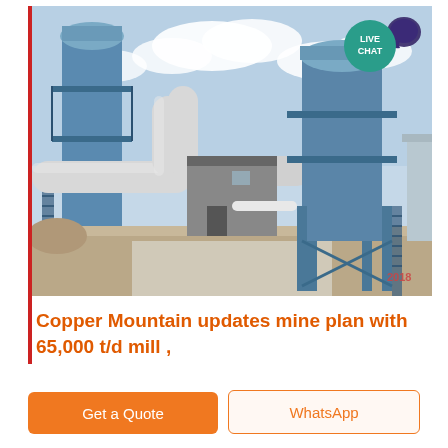[Figure (photo): Industrial mining/milling facility with large blue steel structures, conveyor pipes/ducts, silos, and machinery under a partly cloudy sky. A 'LIVE CHAT' teal badge appears in the top-right corner of the image.]
Copper Mountain updates mine plan with 65,000 t/d mill ,
Get a Quote
WhatsApp